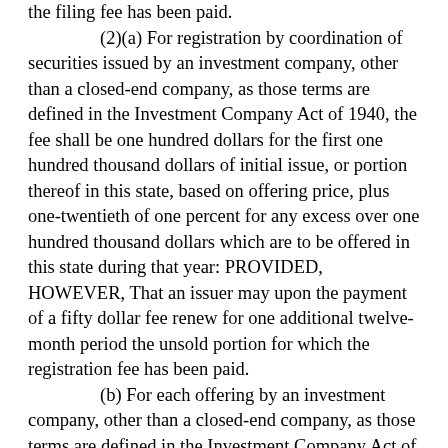the filing fee has been paid.
(2)(a) For registration by coordination of securities issued by an investment company, other than a closed-end company, as those terms are defined in the Investment Company Act of 1940, the fee shall be one hundred dollars for the first one hundred thousand dollars of initial issue, or portion thereof in this state, based on offering price, plus one-twentieth of one percent for any excess over one hundred thousand dollars which are to be offered in this state during that year: PROVIDED, HOWEVER, That an issuer may upon the payment of a fifty dollar fee renew for one additional twelve-month period the unsold portion for which the registration fee has been paid.
(b) For each offering by an investment company, other than a closed-end company, as those terms are defined in the Investment Company Act of 1940, making a notice filing pursuant to RCW 21.20.327(1), the initial filing fee shall be one hundred dollars for the first one hundred thousand dollars of initial issue, or portion thereof in this state, based on offering price, plus one-twentieth of one percent for any excess over